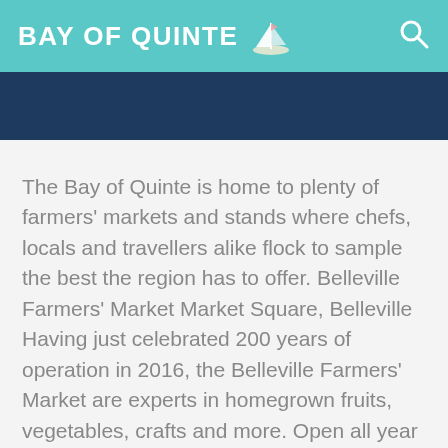BAY OF QUINTE
[Figure (illustration): Dark navy blue navigation bar below the teal header]
The Bay of Quinte is home to plenty of farmers' markets and stands where chefs, locals and travellers alike flock to sample the best the region has to offer. Belleville Farmers' Market Market Square, Belleville Having just celebrated 200 years of operation in 2016, the Belleville Farmers' Market are experts in homegrown fruits, vegetables, crafts and more. Open all year